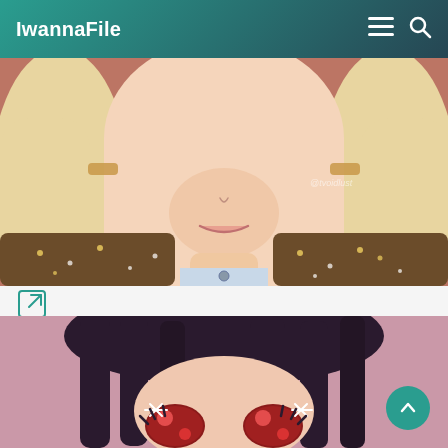IwannaFile
[Figure (illustration): Anime character with long blonde hair, wearing a sparkly blazer and light blue shirt. Close-up on lower face, neck and upper chest. Watermark '@tvoidlust' visible.]
[Figure (other): Edit/external link icon (square with arrow pointing out)]
[Figure (illustration): Anime character with dark hair, shown with sparkling glittery red eyes. Pink/mauve background. Scroll-to-top teal button overlaid in lower right corner.]